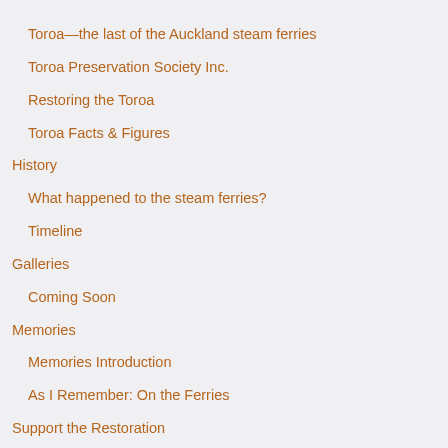Toroa—the last of the Auckland steam ferries
Toroa Preservation Society Inc.
Restoring the Toroa
Toroa Facts & Figures
History
What happened to the steam ferries?
Timeline
Galleries
Coming Soon
Memories
Memories Introduction
As I Remember: On the Ferries
Support the Restoration